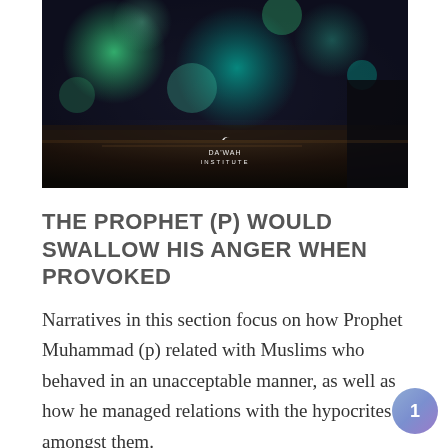[Figure (photo): Bokeh-style nighttime photograph with blurred green and teal circular light orbs against a dark background. A small white Da'wah Institute logo and text appears near the center-bottom of the image.]
THE PROPHET (P) WOULD SWALLOW HIS ANGER WHEN PROVOKED
Narratives in this section focus on how Prophet Muhammad (p) related with Muslims who behaved in an unacceptable manner, as well as how he managed relations with the hypocrites amongst them.